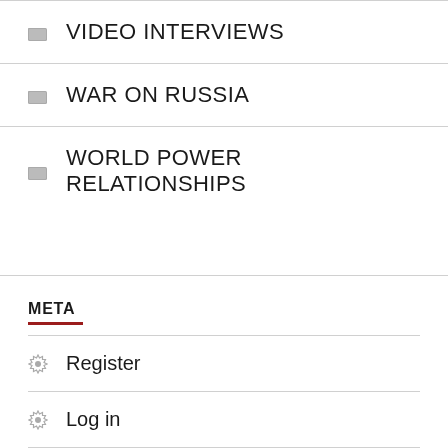VIDEO INTERVIEWS
WAR ON RUSSIA
WORLD POWER RELATIONSHIPS
META
Register
Log in
Entries feed